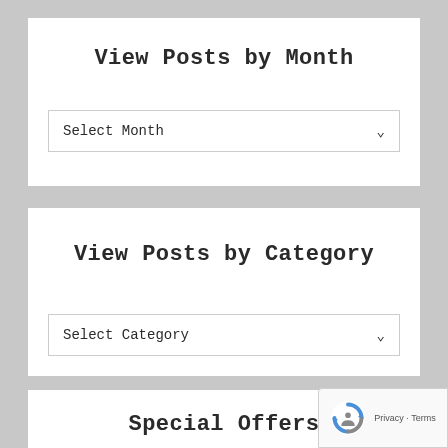View Posts by Month
Select Month
View Posts by Category
Select Category
Special Offers
[Figure (logo): reCAPTCHA badge with rotating arrows icon, showing Privacy and Terms links]